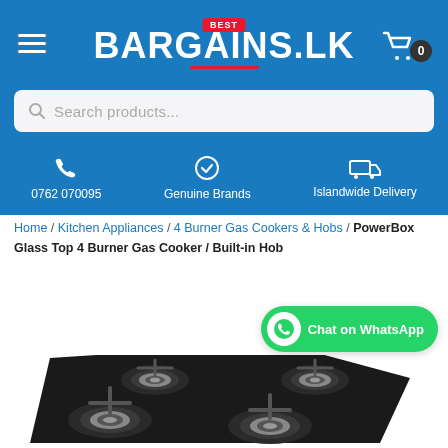[Figure (logo): BestBargains.lk logo with red BEST badge on blue header background]
0762 070095
Genuine Brands
Islandwide Delivery
Home / Kitchen Appliances / 4 Burner Gas Cookers & Hobs / PowerBox Glass Top 4 Burner Gas Cooker / Built-in Hob
[Figure (other): Chat on WhatsApp button]
[Figure (photo): PowerBox Glass Top 4 Burner Gas Cooker / Built-in Hob product image showing black glass cooktop with burners]